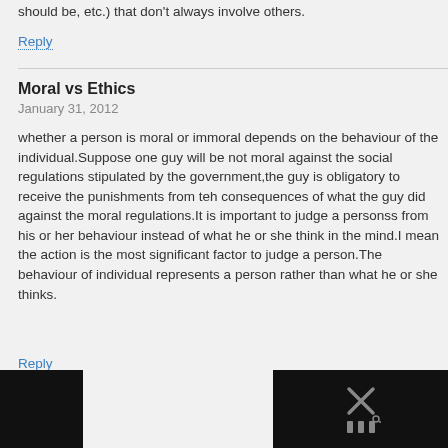should be, etc.) that don't always involve others.
Reply
Moral vs Ethics
January 31, 2012
whether a person is moral or immoral depends on the behaviour of the individual.Suppose one guy will be not moral against the social regulations stipulated by the government,the guy is obligatory to receive the punishments from teh consequences of what the guy did against the moral regulations.It is important to judge a personss from his or her behaviour instead of what he or she think in the mind.I mean the action is the most significant factor to judge a person.The behaviour of individual represents a person rather than what he or she thinks.
Reply